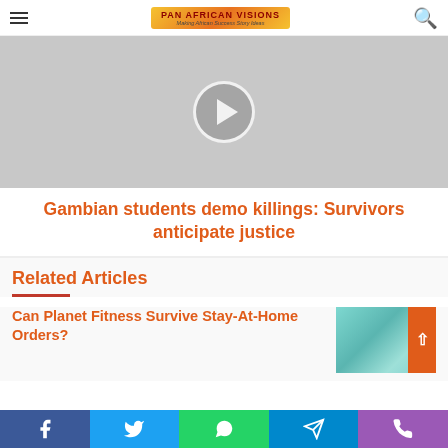Pan African Visions
[Figure (photo): Gray placeholder hero image with a circular play/next button in the center]
Gambian students demo killings: Survivors anticipate justice
Related Articles
Can Planet Fitness Survive Stay-At-Home Orders?
[Figure (photo): Teal/turquoise colored photo with orange arrow button on the right side]
Facebook | Twitter | WhatsApp | Telegram | Phone